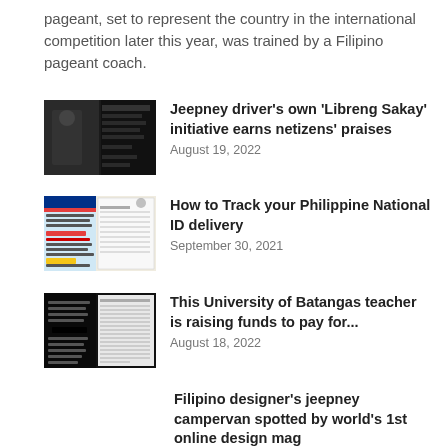pageant, set to represent the country in the international competition later this year, was trained by a Filipino pageant coach.
Jeepney driver's own 'Libreng Sakay' initiative earns netizens' praises
August 19, 2022
How to Track your Philippine National ID delivery
September 30, 2021
This University of Batangas teacher is raising funds to pay for...
August 18, 2022
Filipino designer's jeepney campervan spotted by world's 1st online design mag
August 18, 2022